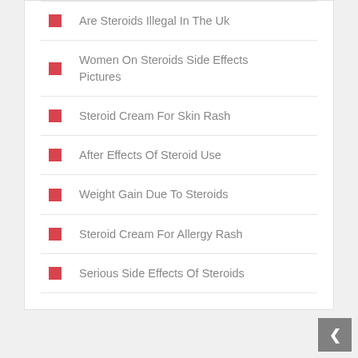Are Steroids Illegal In The Uk
Women On Steroids Side Effects Pictures
Steroid Cream For Skin Rash
After Effects Of Steroid Use
Weight Gain Due To Steroids
Steroid Cream For Allergy Rash
Serious Side Effects Of Steroids